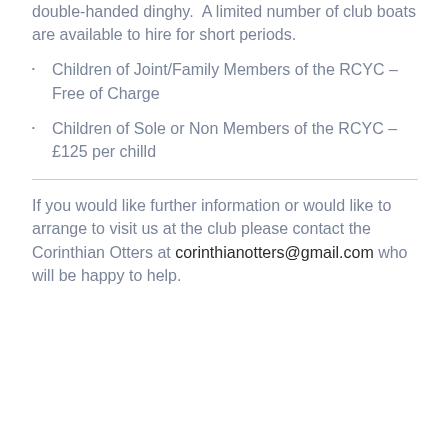double-handed dinghy. A limited number of club boats are available to hire for short periods.
Children of Joint/Family Members of the RCYC – Free of Charge
Children of Sole or Non Members of the RCYC – £125 per chilld
If you would like further information or would like to arrange to visit us at the club please contact the Corinthian Otters at corinthianotters@gmail.com who will be happy to help.